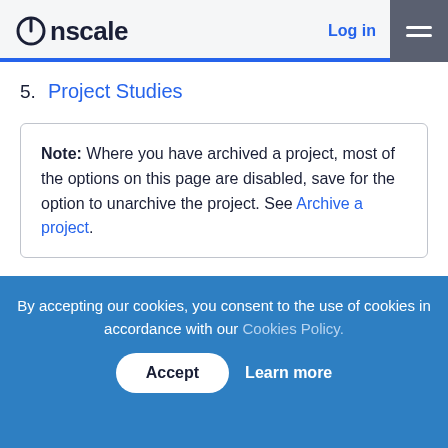onscale — Log in
5. Project Studies
Note: Where you have archived a project, most of the options on this page are disabled, save for the option to unarchive the project. See Archive a project.
Basic Details
This section covers basic project details. You can also archive or delete a project from
By accepting our cookies, you consent to the use of cookies in accordance with our Cookies Policy.